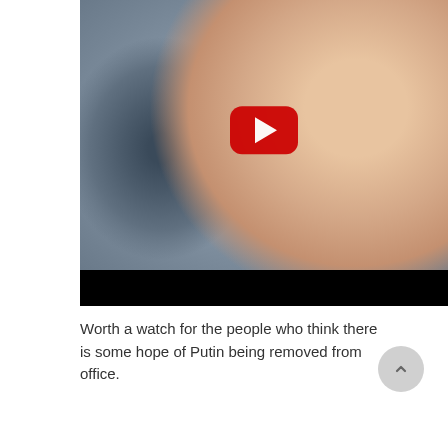[Figure (screenshot): Embedded video thumbnail showing a close-up of a man's face (Putin) in the foreground and a blurred figure in military uniform in the background. A YouTube-style red play button is overlaid in the center.]
Worth a watch for the people who think there is some hope of Putin being removed from office.